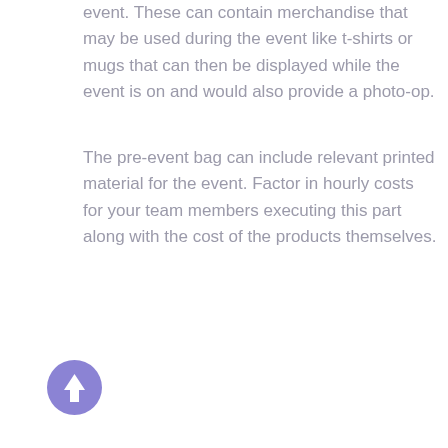event. These can contain merchandise that may be used during the event like t-shirts or mugs that can then be displayed while the event is on and would also provide a photo-op.
The pre-event bag can include relevant printed material for the event. Factor in hourly costs for your team members executing this part along with the cost of the products themselves.
[Figure (illustration): Purple circular button with an upward-pointing arrow icon]